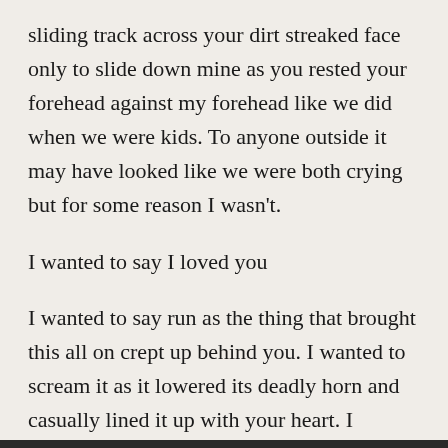sliding track across your dirt streaked face only to slide down mine as you rested your forehead against my forehead like we did when we were kids. To anyone outside it may have looked like we were both crying but for some reason I wasn't.
I wanted to say I loved you
I wanted to say run as the thing that brought this all on crept up behind you. I wanted to scream it as it lowered its deadly horn and casually lined it up with your heart. I wanted to push you out of the way I wanted to do anything to stop this but…